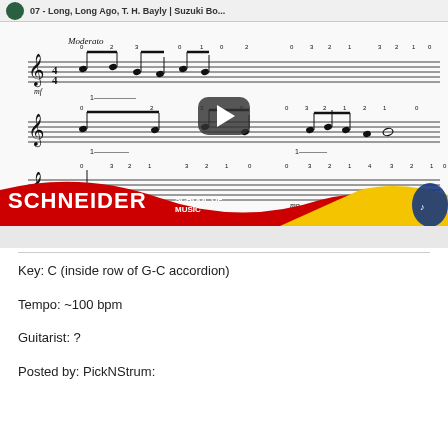[Figure (screenshot): YouTube video thumbnail showing sheet music for 'Long, Long Ago' by T. H. Bayly with Schneider School of Music branding. Sheet music shows guitar notation with fingering numbers, marked Moderato, mf and mp dynamics. A play button overlay is centered on the thumbnail.]
Key:  C  (inside row of G-C accordion)
Tempo:  ~100 bpm
Guitarist:  ?
Posted by:  PickNStrum: